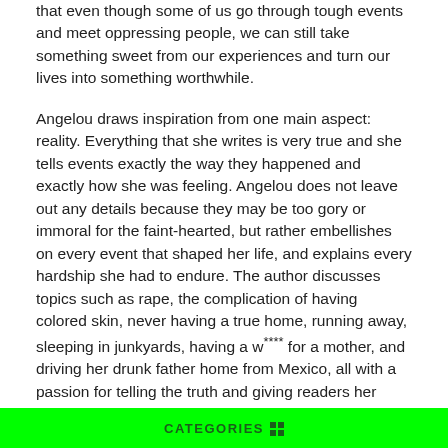that even though some of us go through tough events and meet oppressing people, we can still take something sweet from our experiences and turn our lives into something worthwhile.
Angelou draws inspiration from one main aspect: reality. Everything that she writes is very true and she tells events exactly the way they happened and exactly how she was feeling. Angelou does not leave out any details because they may be too gory or immoral for the faint-hearted, but rather embellishes on every event that shaped her life, and explains every hardship she had to endure. The author discusses topics such as rape, the complication of having colored skin, never having a true home, running away, sleeping in junkyards, having a w**** for a mother, and driving her drunk father home from Mexico, all with a passion for telling the truth and giving readers her childhood as a whole, rather than a watered-down version.
Angelou's writing of spirit through her troubled life
CATEGORIES